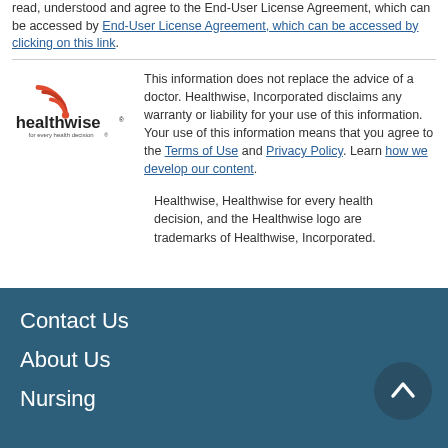read, understood and agree to the End-User License Agreement, which can be accessed by End-User License Agreement, which can be accessed by clicking on this link.
[Figure (logo): Healthwise logo with tagline 'for every health decision']
This information does not replace the advice of a doctor. Healthwise, Incorporated disclaims any warranty or liability for your use of this information. Your use of this information means that you agree to the Terms of Use and Privacy Policy. Learn how we develop our content.
Healthwise, Healthwise for every health decision, and the Healthwise logo are trademarks of Healthwise, Incorporated.
Contact Us
About Us
Nursing